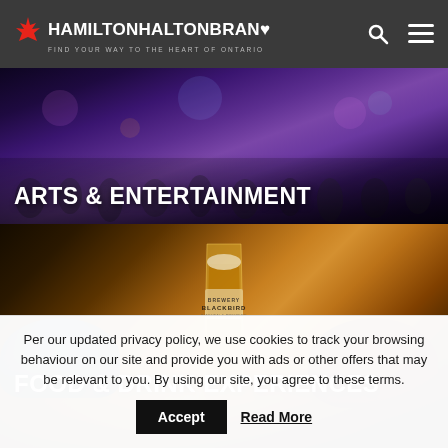HAMILTONHALTONBRAND — FIND YOUR WAY TO THE HEART OF ONTARIO
[Figure (photo): Arts and Entertainment banner photo showing a concert crowd with purple/blue lighting overlay and text 'ARTS & ENTERTAINMENT']
[Figure (photo): Food and Drink Experiences banner photo showing a glass of beer from Blackbird Brewing Kitchen & Brewery with food bowls, and text 'FOOD & DRINK EXPERIENCES']
Per our updated privacy policy, we use cookies to track your browsing behaviour on our site and provide you with ads or other offers that may be relevant to you. By using our site, you agree to these terms.
Accept  Read More